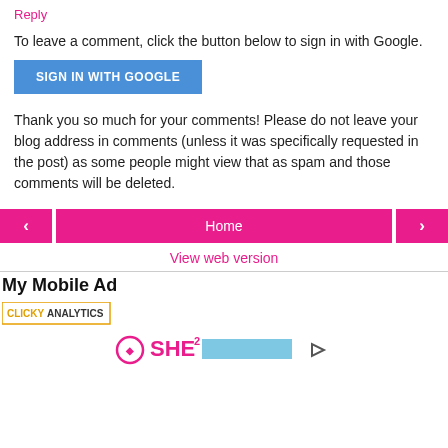Reply
To leave a comment, click the button below to sign in with Google.
SIGN IN WITH GOOGLE
Thank you so much for your comments! Please do not leave your blog address in comments (unless it was specifically requested in the post) as some people might view that as spam and those comments will be deleted.
< | Home | >
View web version
My Mobile Ad
[Figure (logo): Clicky Analytics badge logo]
[Figure (logo): SHE media / advertisement bottom banner with play button]